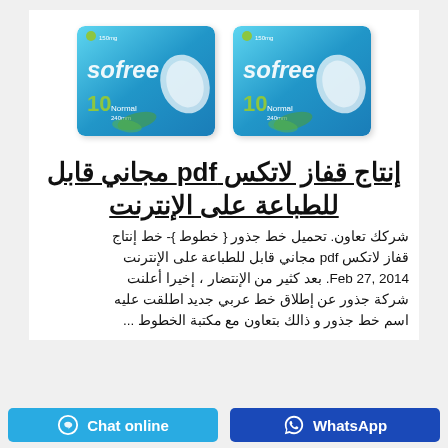[Figure (photo): Two packages of Sofree sanitary pads (10 count each) with blue packaging]
إنتاج قفاز لاتكس pdf مجاني قابل للطباعة على الإنترنت
شركك تعاون. تحميل خط جذور { خطوط }- خط إنتاج قفاز لاتكس pdf مجاني قابل للطباعة على الإنترنت Feb 27, 2014. بعد كثير من الإنتضار ، إخيرا أعلنت شركة جذور عن إطلاق خط عربي جديد اطلقت عليه اسم خط جذور و ذالك بتعاون مع مكتبة الخطوط ...
Chat online   WhatsApp